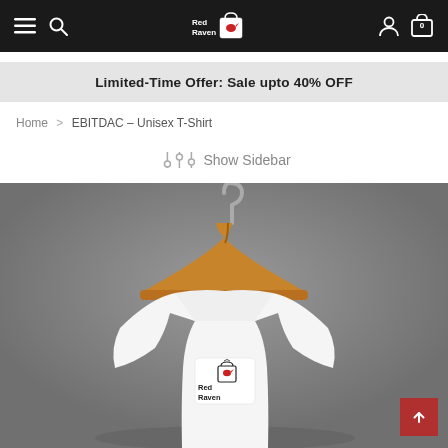Red Raven — navigation bar with menu, search, logo, user, cart (0)
Limited-Time Offer: Sale upto 40% OFF
Home > EBITDAC – Unisex T-Shirt
Show Sidebar
[Figure (photo): White unisex t-shirt on a wooden hanger against a grey background, with Red Raven logo on the chest label]